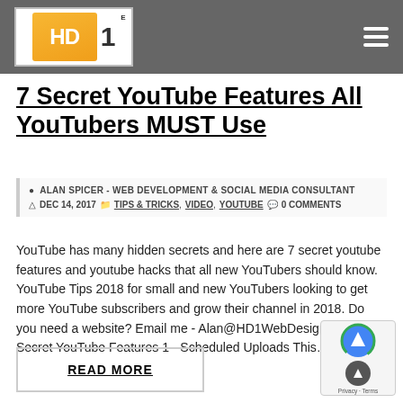HD1 | TIPS & TRICKS | VIDEO | YOUTUBE
7 Secret YouTube Features All YouTubers MUST Use
ALAN SPICER - WEB DEVELOPMENT & SOCIAL MEDIA CONSULTANT | DEC 14, 2017 | TIPS & TRICKS, VIDEO, YOUTUBE | 0 COMMENTS
YouTube has many hidden secrets and here are 7 secret youtube features and youtube hacks that all new YouTubers should know. YouTube Tips 2018 for small and new YouTubers looking to get more YouTube subscribers and grow their channel in 2018. Do you need a website? Email me - Alan@HD1WebDesign.com 7 Secret YouTube Features 1 - Scheduled Uploads This…
READ MORE